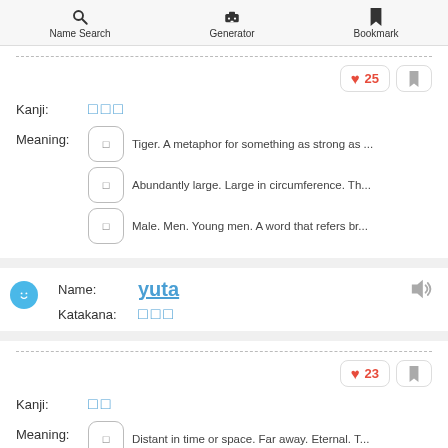Name Search | Generator | Bookmark
Kanji: 虎大男
♥ 25
Meaning: Tiger. A metaphor for something as strong as ...
Meaning: Abundantly large. Large in circumference. Th...
Meaning: Male. Men. Young men. A word that refers br...
Name: yuta
Katakana: ユウタ
♥ 23
Kanji: 悠太
Meaning: Distant in time or space. Far away. Eternal. T...